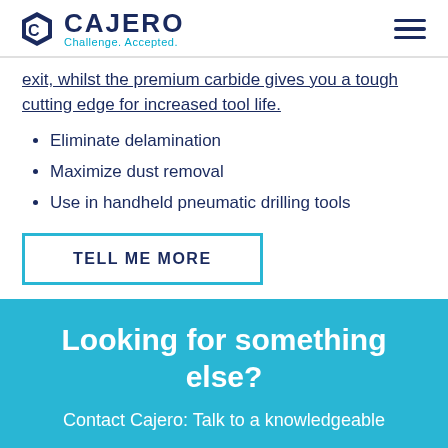CAJERO — Challenge. Accepted.
exit, whilst the premium carbide gives you a tough cutting edge for increased tool life.
Eliminate delamination
Maximize dust removal
Use in handheld pneumatic drilling tools
TELL ME MORE
Looking for something else?
Contact Cajero: Talk to a knowledgeable